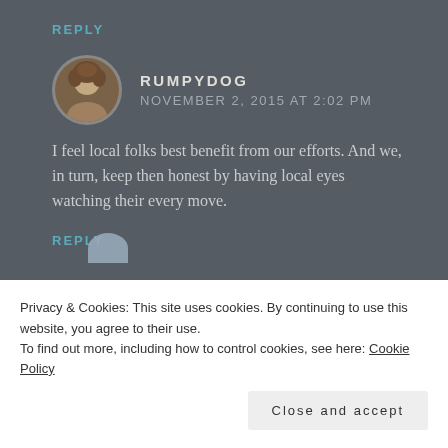REPLY
RUMPYDOG
NOVEMBER 2, 2015 AT 2:02 PM
I feel local folks best benefit from our efforts. And we, in turn, keep then honest by having local eyes watching their every move.
REPLY
Privacy & Cookies: This site uses cookies. By continuing to use this website, you agree to their use.
To find out more, including how to control cookies, see here: Cookie Policy
Close and accept